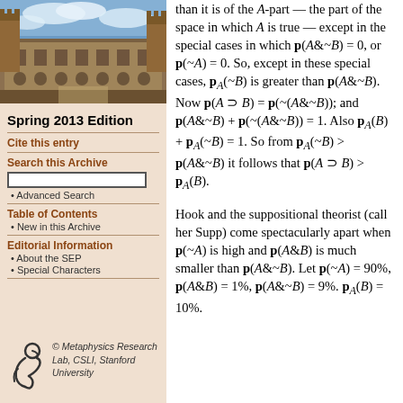[Figure (photo): Photograph of a university building (stone architecture with towers and courtyard) against a blue sky with clouds]
Spring 2013 Edition
Cite this entry
Search this Archive
Advanced Search
Table of Contents
New in this Archive
Editorial Information
About the SEP
Special Characters
© Metaphysics Research Lab, CSLI, Stanford University
proportion of the whole space than it is of the A-part — the part of the space in which A is true — except in the special cases in which p(A&~B) = 0, or p(~A) = 0. So, except in these special cases, pA(~B) is greater than p(A&~B). Now p(A ⊃ B) = p(~(A&~B)); and p(A&~B) + p(~(A&~B)) = 1. Also pA(B) + pA(~B) = 1. So from pA(~B) > p(A&~B) it follows that p(A ⊃ B) > pA(B).
Hook and the suppositional theorist (call her Supp) come spectacularly apart when p(~A) is high and p(A&B) is much smaller than p(A&~B). Let p(~A) = 90%, p(A&B) = 1%, p(A&~B) = 9%. pA(B) = 10%.